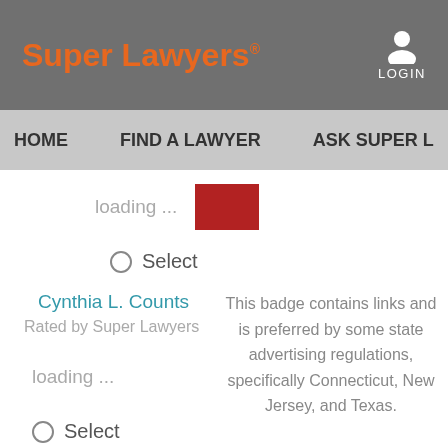Super Lawyers® LOGIN
HOME   FIND A LAWYER   ASK SUPER L
loading ...
○ Select
Cynthia L. Counts
Rated by Super Lawyers
This badge contains links and is preferred by some state advertising regulations, specifically Connecticut, New Jersey, and Texas.
loading ...
○ Select